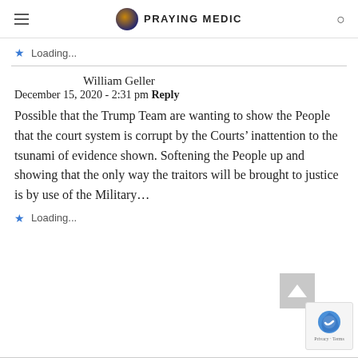PRAYING MEDIC
Loading...
William Geller
December 15, 2020 - 2:31 pm Reply
Possible that the Trump Team are wanting to show the People that the court system is corrupt by the Courts' inattention to the tsunami of evidence shown. Softening the People up and showing that the only way the traitors will be brought to justice is by use of the Military…
Loading...